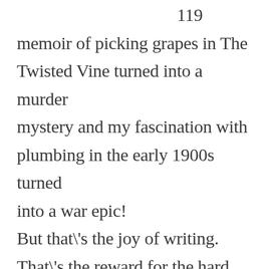memoir of picking grapes in The Twisted Vine turned into a murder mystery and my fascination with plumbing in the early 1900s turned into a war epic! But that\'s the joy of writing. That\'s the reward for the hard slog of research, the discipline of working at it every day; it\'s the birth of characters who never